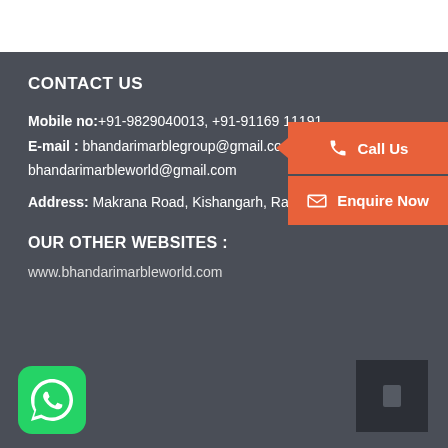CONTACT US
Mobile no: +91-9829040013, +91-91169 11191
E-mail : bhandarimarblegroup@gmail.com
bhandarimarbleworld@gmail.com
Address: Makrana Road, Kishangarh, Rajasthan, In
OUR OTHER WEBSITES :
www.bhandarimarbleworld.com
[Figure (infographic): Orange Call Us button with phone icon on right side]
[Figure (infographic): Orange Enquire Now button with envelope icon on right side]
[Figure (logo): WhatsApp green rounded square icon at bottom left]
[Figure (other): Dark square widget at bottom right]